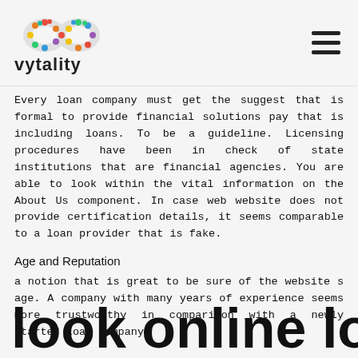vytality
Every loan company must get the suggest that is formal to provide financial solutions pay that is including loans. To be a guideline. Licensing procedures have been in check of state institutions that are financial agencies. You are able to look within the vital information on the About Us component. In case web website does not provide certification details, it seems comparable to a loan provider that is fake.
Age and Reputation
a notion that is great to be sure of the website s age. A company with many years of experience seems more trustworthy in comparison with a newly started loan company.
look online looking